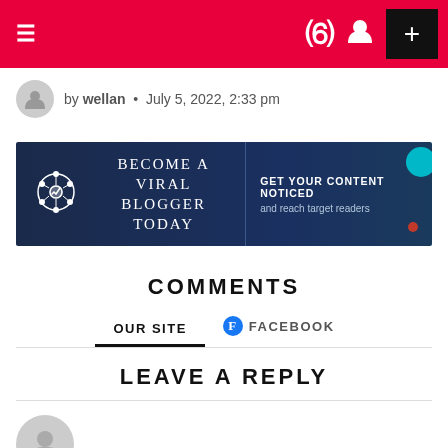Navigation bar with hamburger menu, icons, and + button
by wellan • July 5, 2022, 2:33 pm
[Figure (infographic): Ad banner: BECOME A VIRAL BLOGGER TODAY | GET YOUR CONTENT NOTICED and reach target readers]
COMMENTS
OUR SITE   FACEBOOK
LEAVE A REPLY
Your email address will not be published. Required fields are marked *